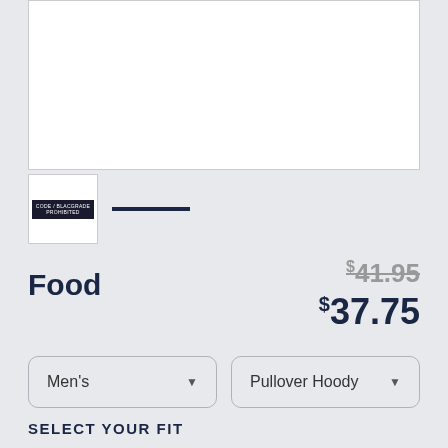[Figure (photo): White product image area (blank/white background for product photo)]
[Figure (photo): Thumbnail image showing product with small label text 'CODE / BLACGRADE PROHIBITED' on dark background]
Food
$41.95 (strikethrough original price)
$37.75 (sale price)
Men's (dropdown selector)
Pullover Hoody (dropdown selector)
SELECT YOUR FIT